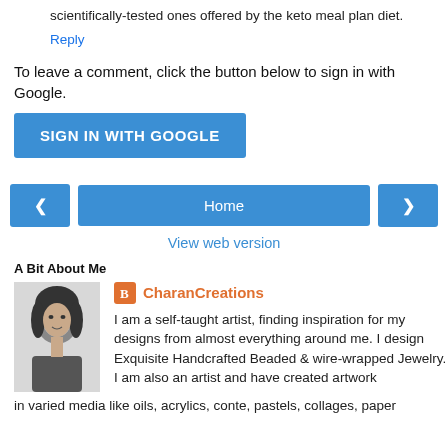scientifically-tested ones offered by the keto meal plan diet.
Reply
To leave a comment, click the button below to sign in with Google.
[Figure (other): SIGN IN WITH GOOGLE button (blue rectangle with white bold text)]
[Figure (other): Navigation row with left arrow button, Home button, and right arrow button (all blue)]
View web version
A Bit About Me
[Figure (photo): Profile photo of a woman with dark hair, illustrated/high-contrast style]
CharanCreations
I am a self-taught artist, finding inspiration for my designs from almost everything around me. I design Exquisite Handcrafted Beaded & wire-wrapped Jewelry. I am also an artist and have created artwork in varied media like oils, acrylics, conte, pastels, collages, paper